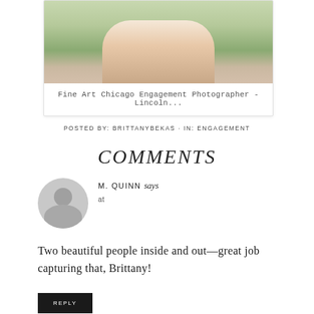[Figure (photo): Couple photo card with floral dress and beige pants in green outdoor setting]
Fine Art Chicago Engagement Photographer - Lincoln...
POSTED BY: BRITTANYBEKAS · IN: ENGAGEMENT
COMMENTS
M. QUINN says
at
Two beautiful people inside and out—great job capturing that, Brittany!
REPLY